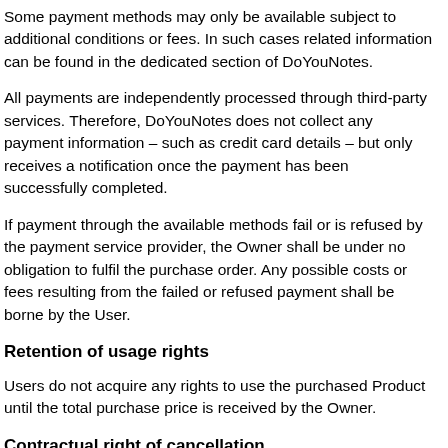Some payment methods may only be available subject to additional conditions or fees. In such cases related information can be found in the dedicated section of DoYouNotes.
All payments are independently processed through third-party services. Therefore, DoYouNotes does not collect any payment information – such as credit card details – but only receives a notification once the payment has been successfully completed.
If payment through the available methods fail or is refused by the payment service provider, the Owner shall be under no obligation to fulfil the purchase order. Any possible costs or fees resulting from the failed or refused payment shall be borne by the User.
Retention of usage rights
Users do not acquire any rights to use the purchased Product until the total purchase price is received by the Owner.
Contractual right of cancellation
The Owner grants Users a contractual right to cancel the